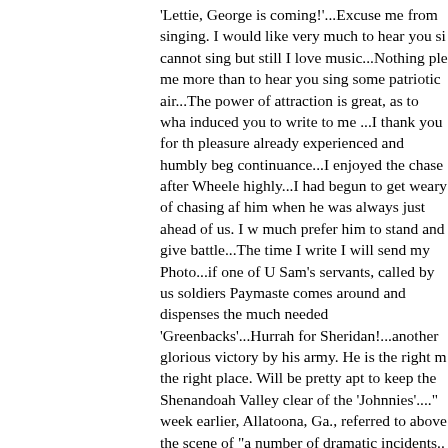'Lettie, George is coming!'...Excuse me from singing. I would like very much to hear you sing, cannot sing but still I love music...Nothing pleases me more than to hear you sing some patriotic air...The power of attraction is great, as to what induced you to write to me ...I thank you for the pleasure already experienced and humbly beg its continuance...I enjoyed the chase after Wheeler highly...I had begun to get weary of chasing after him when he was always just ahead of us. I would much prefer him to stand and give battle...The next time I write I will send my Photo...if one of Uncle Sam's servants, called by us soldiers Paymaster, comes around and dispenses the much needed 'Greenbacks'...Hurrah for Sheridan!...another glorious victory by his army. He is the right man in the right place. Will be pretty apt to keep the Shenandoah Valley clear of the 'Johnnies'...." A week earlier, Allatoona, Ga., referred to above, was the scene of "a number of dramatic incidents...an important Federal supply depot, (contained) a million rations of bread for Sherman's Army in Atlanta..."--Boatner. Surrounded on Oct. 5, the glimpse of a Union signal flag was spotted over heads of the enemy. The cryptic letters were